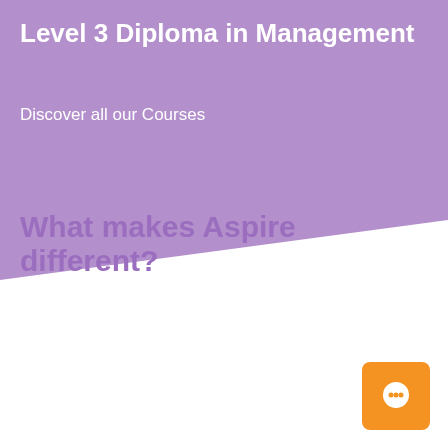Level 3 Diploma in Management
Discover all our Courses
What makes Aspire different?
[Figure (other): Orange chat button icon in bottom-right corner]